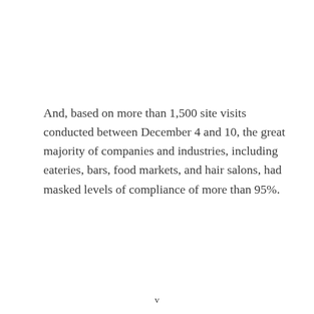And, based on more than 1,500 site visits conducted between December 4 and 10, the great majority of companies and industries, including eateries, bars, food markets, and hair salons, had masked levels of compliance of more than 95%.
v